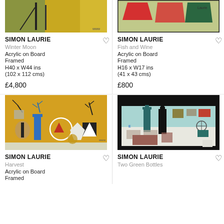[Figure (photo): Partial top crop of 'Winter Moon' painting by Simon Laurie - abstract landscape with olive green, yellow and dark lines]
[Figure (photo): Partial top crop of 'Fish and Wine' painting by Simon Laurie - abstract with red, green shapes on light green background]
SIMON LAURIE
Winter Moon
Acrylic on Board
Framed
H40 x W44 ins
(102 x 112 cms)
£4,800
SIMON LAURIE
Fish and Wine
Acrylic on Board
Framed
H16 x W17 ins
(41 x 43 cms)
£800
[Figure (photo): Harvest painting by Simon Laurie - still life with blue vase, plants and shapes on yellow/ochre background]
[Figure (photo): 'Two Green Bottles' painting by Simon Laurie - arrangement of bottles and objects on white/teal background with black top]
SIMON LAURIE
Harvest
Acrylic on Board
Framed
SIMON LAURIE
Two Green Bottles